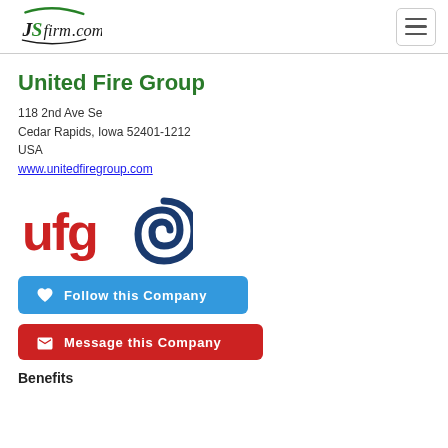JSfirm.com
United Fire Group
118 2nd Ave Se
Cedar Rapids, Iowa 52401-1212
USA
www.unitedfiregroup.com
[Figure (logo): UFG (United Fire Group) company logo with red 'ufg' text and blue spiral symbol]
Follow this Company
Message this Company
Benefits